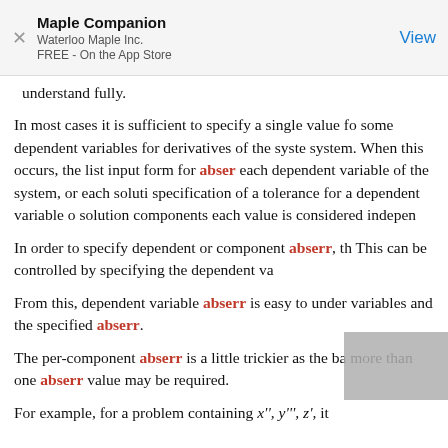Maple Companion
Waterloo Maple Inc.
FREE - On the App Store
View
understand fully.
In most cases it is sufficient to specify a single value for some dependent variables for derivatives of the system. When this occurs, the list input form for abserr each dependent variable of the system, or each solution specification of a tolerance for a dependent variable or solution components each value is considered independently.
In order to specify dependent or component abserr, the... This can be controlled by specifying the dependent variable...
From this, dependent variable abserr is easy to understand variables and the specified abserr.
The per-component abserr is a little trickier as the basis more than one abserr value may be required.
For example, for a problem containing x'', y''', z', it...